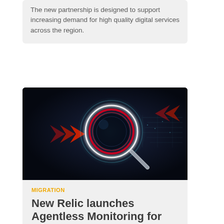The new partnership is designed to support increasing demand for high quality digital services across the region.
[Figure (photo): Dark technology-themed image featuring a glowing circular magnifying glass with red and cyan light effects and red chevron arrows on the left, against a dark background with HUD-style digital overlays.]
MIGRATION
New Relic launches Agentless Monitoring for SAP Solutions
The company says the solution empowers IT teams to better support